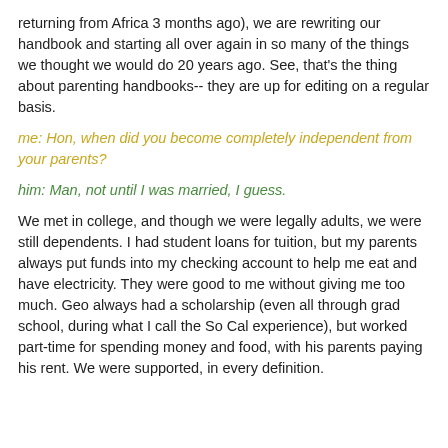returning from Africa 3 months ago), we are rewriting our handbook and starting all over again in so many of the things we thought we would do 20 years ago.  See, that's the thing about parenting handbooks-- they are up for editing on a regular basis.
me:  Hon, when did you become completely independent from your parents?
him:  Man, not until I was married, I guess.
We met in college, and though we were legally adults, we were still dependents.  I had student loans for tuition, but my parents always put funds into my checking account to help me eat and have electricity.  They were good to me without giving me too much.  Geo always had a scholarship (even all through grad school, during what I call the So Cal experience), but worked part-time for spending money and food, with his parents paying his rent.  We were supported, in every definition.